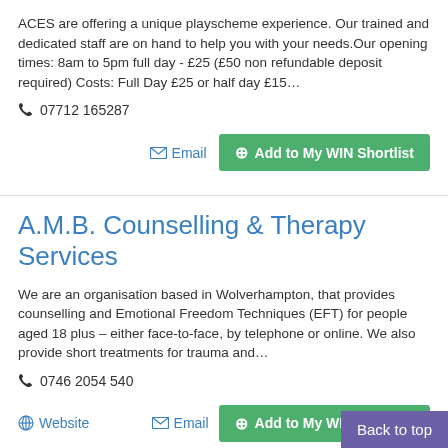ACES are offering a unique playscheme experience. Our trained and dedicated staff are on hand to help you with your needs.Our opening times: 8am to 5pm full day - £25 (£50 non refundable deposit required) Costs: Full Day £25 or half day £15…
☎ 07712 165287
Email | Add to My WIN Shortlist
A.M.B. Counselling & Therapy Services
We are an organisation based in Wolverhampton, that provides counselling and Emotional Freedom Techniques (EFT) for people aged 18 plus – either face-to-face, by telephone or online. We also provide short treatments for trauma and…
☎ 0746 2054 540
Website | Email | Add to My WIN Shortlist
Back to top